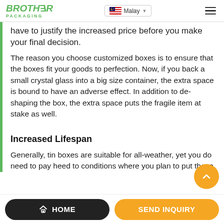BROTHER PACKAGING | Malay
have to justify the increased price before you make your final decision.
The reason you choose customized boxes is to ensure that the boxes fit your goods to perfection. Now, if you back a small crystal glass into a big size container, the extra space is bound to have an adverse effect. In addition to de-shaping the box, the extra space puts the fragile item at stake as well.
Increased Lifespan
Generally, tin boxes are suitable for all-weather, yet you do need to pay heed to conditions where you plan to put these
HOME | SEND INQUIRY